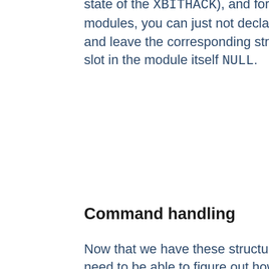state of the XBITHACK), and for those modules, you can just not declare one, and leave the corresponding structure slot in the module itself NULL.
Command handling
Now that we have these structures, we need to be able to figure out how to fill them. That involves processing the actual AddType and AddEncoding commands. To find commands, the server looks in the module's command table. That table contains information on how many arguments the commands take, and in what formats, where it